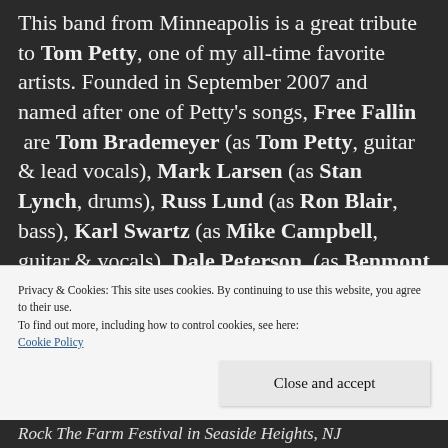This band from Minneapolis is a great tribute to Tom Petty, one of my all-time favorite artists. Founded in September 2007 and named after one of Petty's songs, Free Fallin are Tom Brademeyer (as Tom Petty, guitar & lead vocals), Mark Larsen (as Stan Lynch, drums), Russ Lund (as Ron Blair, bass), Karl Swartz (as Mike Campbell, guitar & vocals), Dale Peterson (as Benmont Tench, keyboards, percussion & vocals) and Craig Volke (as Scott Thurston, guitar, keyboards,
Privacy & Cookies: This site uses cookies. By continuing to use this website, you agree to their use.
To find out more, including how to control cookies, see here: Cookie Policy
Close and accept
Rock The Farm Festival in Seaside Heights, NJ